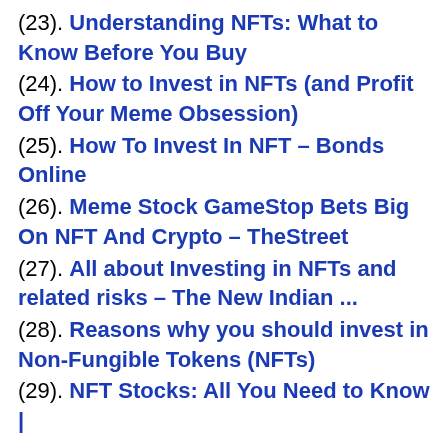(23). Understanding NFTs: What to Know Before You Buy
(24). How to Invest in NFTs (and Profit Off Your Meme Obsession)
(25). How To Invest In NFT – Bonds Online
(26). Meme Stock GameStop Bets Big On NFT And Crypto – TheStreet
(27). All about Investing in NFTs and related risks – The New Indian ...
(28). Reasons why you should invest in Non-Fungible Tokens (NFTs)
(29). NFT Stocks: All You Need to Know |